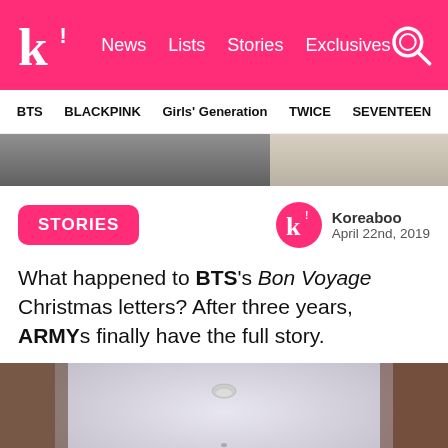k! News Lists Stories Exclusives
BTS BLACKPINK Girls' Generation TWICE SEVENTEEN
[Figure (photo): Two cropped photo thumbnails side by side — left shows dark clothing, right shows light/beige background]
STORIES
Koreaboo
April 22nd, 2019
What happened to BTS's Bon Voyage Christmas letters? After three years, ARMYs finally have the full story.
[Figure (photo): Interior room photo showing a white ceiling with a small dome fixture and wooden walls, slightly blurred]